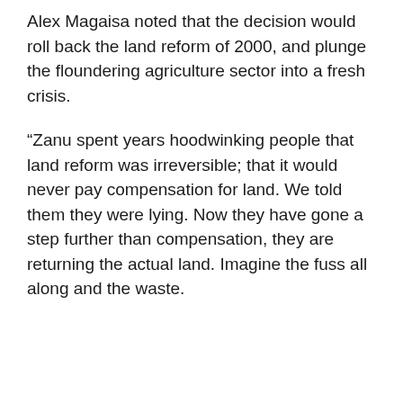Alex Magaisa noted that the decision would roll back the land reform of 2000, and plunge the floundering agriculture sector into a fresh crisis.
“Zanu spent years hoodwinking people that land reform was irreversible; that it would never pay compensation for land. We told them they were lying. Now they have gone a step further than compensation, they are returning the actual land. Imagine the fuss all along and the waste.